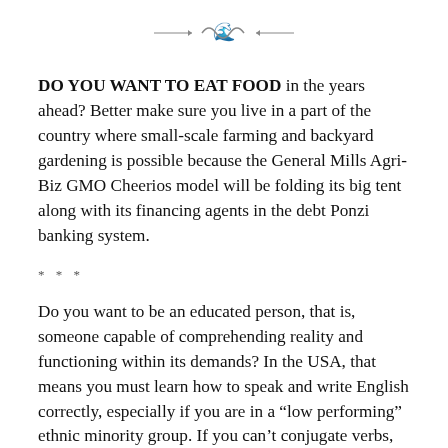[Figure (illustration): Decorative ornamental divider with swirl/flourish design centered at top of page]
DO YOU WANT TO EAT FOOD in the years ahead? Better make sure you live in a part of the country where small-scale farming and backyard gardening is possible because the General Mills Agri-Biz GMO Cheerios model will be folding its big tent along with its financing agents in the debt Ponzi banking system.
* * *
Do you want to be an educated person, that is, someone capable of comprehending reality and functioning within its demands? In the USA, that means you must learn how to speak and write English correctly, especially if you are in a “low performing” ethnic minority group. If you can’t conjugate verbs, you